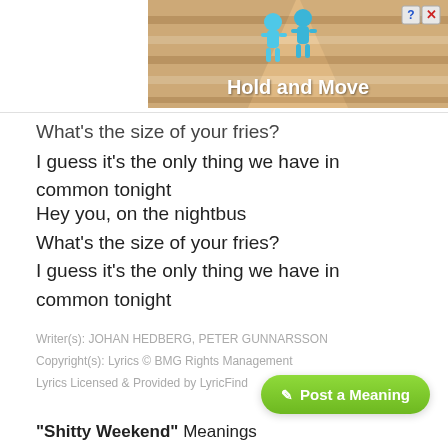[Figure (screenshot): Advertisement banner for a mobile game called 'Hold and Move' showing animated figures on a striped background with close/help buttons in top right corner]
What's the size of your fries?
I guess it's the only thing we have in common tonight
Hey you, on the nightbus
What's the size of your fries?
I guess it's the only thing we have in common tonight
Writer(s): JOHAN HEDBERG, PETER GUNNARSSON
Copyright(s): Lyrics © BMG Rights Management
Lyrics Licensed & Provided by LyricFind
✏ Post a Meaning
"Shitty Weekend" Meanings